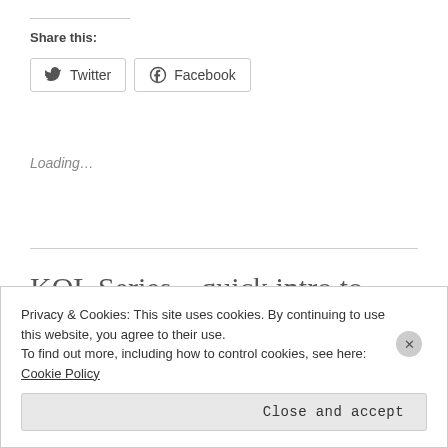Share this:
Twitter  Facebook
Loading…
KQL Series – quick intro to
Privacy & Cookies: This site uses cookies. By continuing to use this website, you agree to their use.
To find out more, including how to control cookies, see here: Cookie Policy
Close and accept